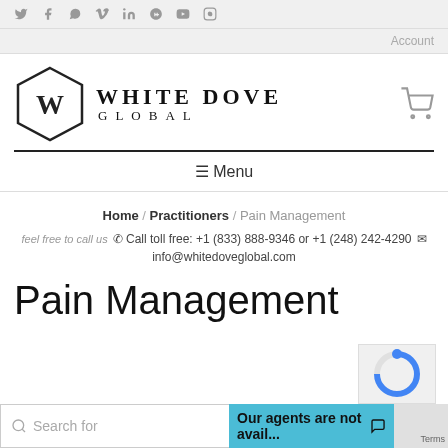Social media icons: Twitter, Facebook, WhatsApp, Vimeo, LinkedIn, Google+, YouTube, Instagram
Account
[Figure (logo): White Dove Global logo — hexagon with stylized W inside, text: WHITE DOVE GLOBAL]
≡ Menu
Home / Practitioners / Pain Management
feel free to call us  Call toll free: +1 (833) 888-9346 or +1 (248) 242-4290  ✉ info@whitedoveglobal.com
Pain Management
Search for
Our agents are not avail...